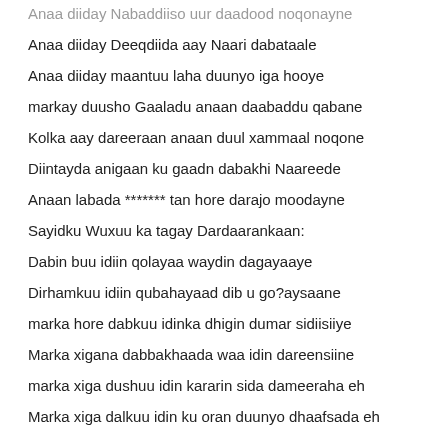Anaa diiday Nabaddiiso uur daadood noqonayne
Anaa diiday Deeqdiida aay Naari dabataale
Anaa diiday maantuu laha duunyo iga hooye
markay duusho Gaaladu anaan daabaddu qabane
Kolka aay dareeraan anaan duul xammaal noqone
Diintayda anigaan ku gaadn dabakhi Naareede
Anaan labada ******* tan hore darajo moodayne
Sayidku Wuxuu ka tagay Dardaarankaan:
Dabin buu idiin qolayaa waydin dagayaaye
Dirhamkuu idiin qubahayaad dib u go?aysaane
marka hore dabkuu idinka dhigin dumar sidiisiiye
Marka xigana dabbakhaada waa idin dareensiine
marka xiga dushuu idin kararin sida dameeraha eh
Marka xiga dalkuu idin ku oran duunyo dhaafsada eh